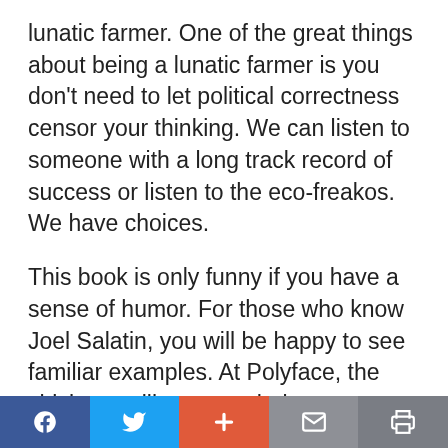lunatic farmer. One of the great things about being a lunatic farmer is you don't need to let political correctness censor your thinking. We can listen to someone with a long track record of success or listen to the eco-freakos. We have choices.
This book is only funny if you have a sense of humor. For those who know Joel Salatin, you will be happy to see familiar examples. At Polyface, the chickens still express their chickenness, and you can see the cow-ness of the cow, the pig-ness of the pig, and the Salatin-ness of the Salatin. You will also hear
[Social sharing bar: Facebook, Twitter, Plus, Mail, Print]